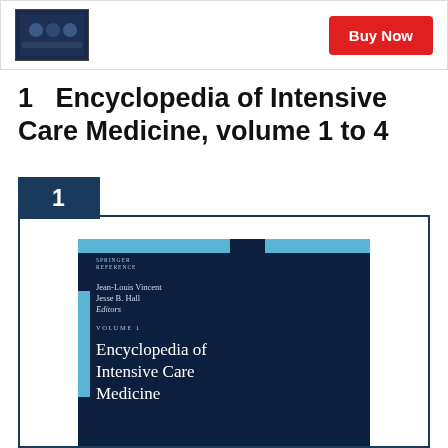[Figure (screenshot): Top bar with book thumbnail image and red Buy Now button]
1   Encyclopedia of Intensive Care Medicine, volume 1 to 4
[Figure (illustration): Numbered card (rank 1) containing the book cover of Encyclopedia of Intensive Care Medicine, Volume 1, edited by Jean-Louis Vincent and Jesse B. Hall, published by Springer Reference. Dark navy cover with light blue accent tabs and title text.]